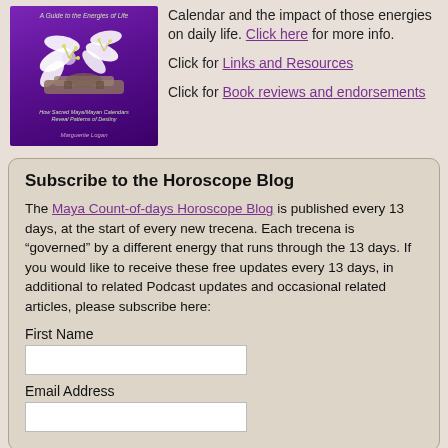[Figure (illustration): Book cover with purple background, white lily flowers, Mayan stone carving, title 'How Sacred Maya/Mayan Calendars Reveal Patterns of Destiny' and author 'Marguerite Logan']
Calendar and the impact of those energies on daily life. Click here for more info.
Click for Links and Resources
Click for Book reviews and endorsements
Subscribe to the Horoscope Blog
The Maya Count-of-days Horoscope Blog is published every 13 days, at the start of every new trecena. Each trecena is "governed" by a different energy that runs through the 13 days. If you would like to receive these free updates every 13 days, in additional to related Podcast updates and occasional related articles, please subscribe here:
First Name
Email Address